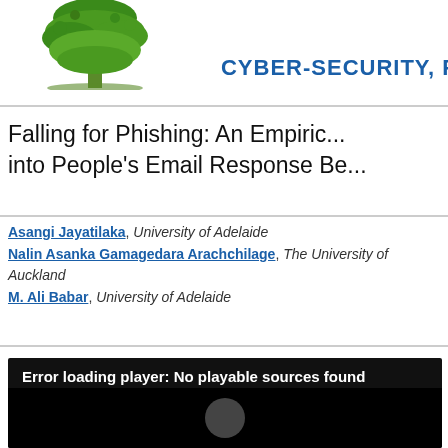[Figure (logo): Green tree logo (university or journal) partially visible on left, with text 'CYBER-SECURITY, P...' in bold blue on the right]
Falling for Phishing: An Empirical Investigation into People's Email Response Behaviors
Asangi Jayatilaka, University of Adelaide
Nalin Asanka Gamagedara Arachchilage, The University of Auckland
M. Ali Babar, University of Adelaide
[Figure (screenshot): Video player showing error message: 'Error loading player: No playable sources found' on dark/black background]